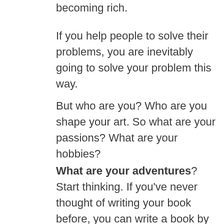becoming rich.
If you help people to solve their problems, you are inevitably going to solve your problem this way.
But who are you? Who are you shape your art. So what are your passions? What are your hobbies?
What are your adventures? Start thinking. If you've never thought of writing your book before, you can write a book by taking of what you really love. Take your passion, take your hobbies and take a timely piece of I don't take a huge thing about it. For example, if you like